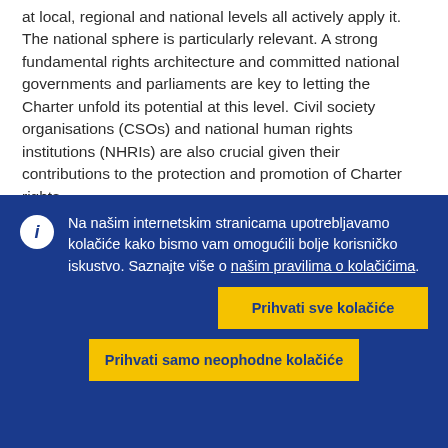at local, regional and national levels all actively apply it. The national sphere is particularly relevant. A strong fundamental rights architecture and committed national governments and parliaments are key to letting the Charter unfold its potential at this level. Civil society organisations (CSOs) and national human rights institutions (NHRIs) are also crucial given their contributions to the protection and promotion of Charter rights.
Na našim internetskim stranicama upotrebljavamo kolačiće kako bismo vam omogućili bolje korisničko iskustvo. Saznajte više o našim pravilima o kolačićima.
Prihvati sve kolačiće
Prihvati samo neophodne kolačiće